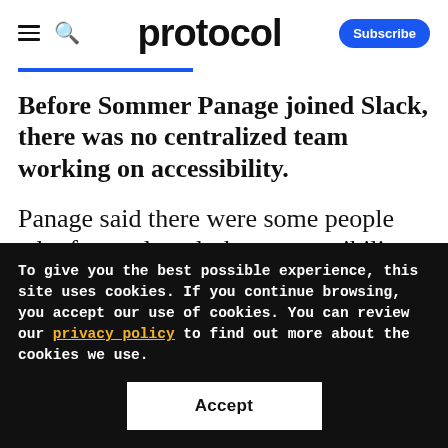protocol — Subscribe
Before Sommer Panage joined Slack, there was no centralized team working on accessibility.
Panage said there were some people who focused on desktop accessibility and others
To give you the best possible experience, this site uses cookies. If you continue browsing, you accept our use of cookies. You can review our privacy policy to find out more about the cookies we use.
Accept